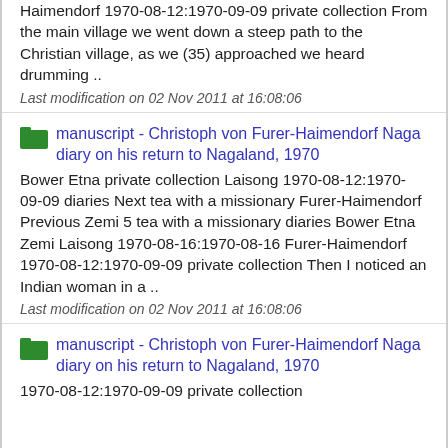Haimendorf 1970-08-12:1970-09-09 private collection From the main village we went down a steep path to the Christian village, as we (35) approached we heard drumming ..
Last modification on 02 Nov 2011 at 16:08:06
manuscript - Christoph von Furer-Haimendorf Naga diary on his return to Nagaland, 1970
Bower Etna private collection Laisong 1970-08-12:1970-09-09 diaries Next tea with a missionary Furer-Haimendorf Previous Zemi 5 tea with a missionary diaries Bower Etna Zemi Laisong 1970-08-16:1970-08-16 Furer-Haimendorf 1970-08-12:1970-09-09 private collection Then I noticed an Indian woman in a ..
Last modification on 02 Nov 2011 at 16:08:06
manuscript - Christoph von Furer-Haimendorf Naga diary on his return to Nagaland, 1970
1970-08-12:1970-09-09 private collection